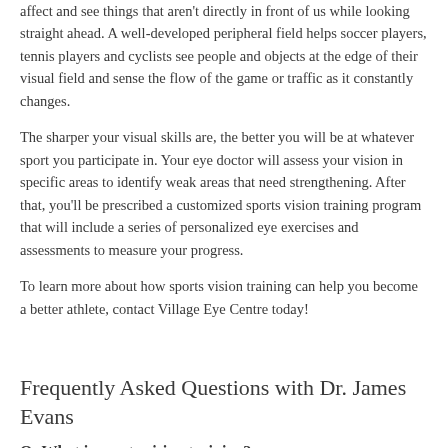affect and see things that aren't directly in front of us while looking straight ahead. A well-developed peripheral field helps soccer players, tennis players and cyclists see people and objects at the edge of their visual field and sense the flow of the game or traffic as it constantly changes.
The sharper your visual skills are, the better you will be at whatever sport you participate in. Your eye doctor will assess your vision in specific areas to identify weak areas that need strengthening. After that, you'll be prescribed a customized sports vision training program that will include a series of personalized eye exercises and assessments to measure your progress.
To learn more about how sports vision training can help you become a better athlete, contact Village Eye Centre today!
Frequently Asked Questions with Dr. James Evans
Q: What is sports vision training?